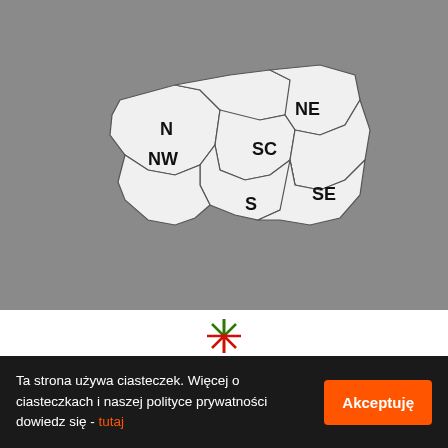KONTAKT
[Figure (map): Map of Poland divided into regions labeled N, NE, NW, SC, S, SE]
[Figure (logo): Red and green star/burst logo icon]
Ta strona używa ciasteczek. Więcej o ciasteczkach i naszej polityce prywatności dowiedz się - tutaj
Akceptuję